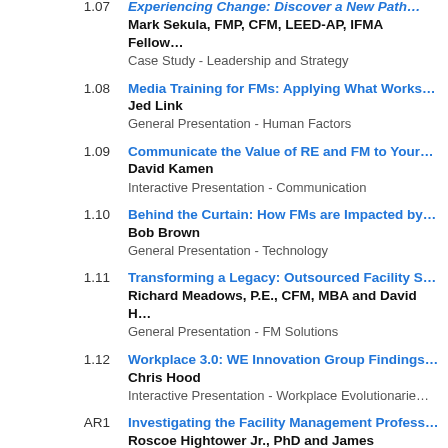1.07 | Experiencing Change: Discover a New Path... | Mark Sekula, FMP, CFM, LEED-AP, IFMA Fellow | Case Study - Leadership and Strategy
1.08 | Media Training for FMs: Applying What Works... | Jed Link | General Presentation - Human Factors
1.09 | Communicate the Value of RE and FM to Your... | David Kamen | Interactive Presentation - Communication
1.10 | Behind the Curtain: How FMs are Impacted by... | Bob Brown | General Presentation - Technology
1.11 | Transforming a Legacy: Outsourced Facility S... | Richard Meadows, P.E., CFM, MBA and David H... | General Presentation - FM Solutions
1.12 | Workplace 3.0: WE Innovation Group Findings... | Chris Hood | Interactive Presentation - Workplace Evolutionarie...
AR1 | Investigating the Facility Management Profess... | Roscoe Hightower Jr., PhD and James Highsm... | General Presentation - Academic & Research
9:00 AM-10:00 AM
AR2 | IFM Allocation Model for Support Services in H... | ...